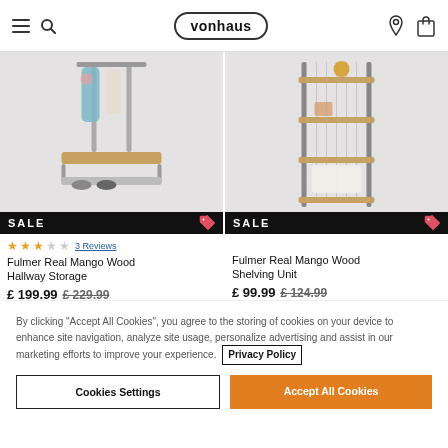vonhaus
[Figure (photo): Fulmer Real Mango Wood Hallway Storage product photo with clothes hanging and shoe rack, SALE banner]
[Figure (photo): Fulmer Real Mango Wood Shelving Unit product photo with wire mesh shelving, SALE banner]
★★★☆☆ 3 Reviews
Fulmer Real Mango Wood Hallway Storage
£ 199.99  £ 229.99
Fulmer Real Mango Wood Shelving Unit
£ 99.99  £ 124.99
By clicking "Accept All Cookies", you agree to the storing of cookies on your device to enhance site navigation, analyze site usage, personalize advertising and assist in our marketing efforts to improve your experience. Privacy Policy
Cookies Settings
Accept All Cookies